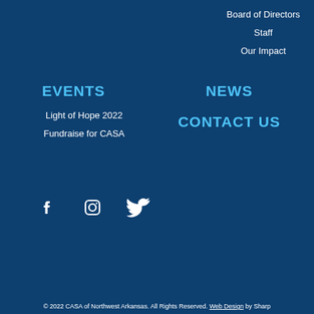Board of Directors
Staff
Our Impact
EVENTS
Light of Hope 2022
Fundraise for CASA
NEWS
CONTACT US
[Figure (infographic): Social media icons: Facebook, Instagram, Twitter]
© 2022 CASA of Northwest Arkansas. All Rights Reserved. Web Design by Sharp